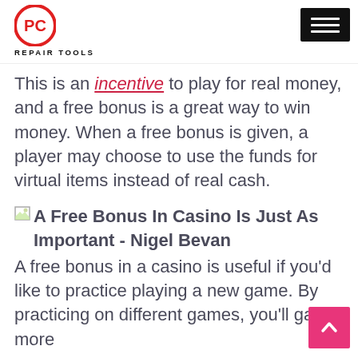PC Repair Tools
This is an incentive to play for real money, and a free bonus is a great way to win money. When a free bonus is given, a player may choose to use the funds for virtual items instead of real cash.
[Figure (photo): Broken image placeholder with alt text: A Free Bonus In Casino Is Just As Important - Nigel Bevan]
A free bonus in a casino is useful if you'd like to practice playing a new game. By practicing on different games, you'll gain more